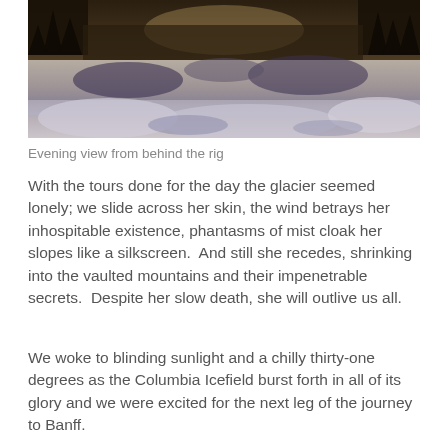[Figure (photo): Evening landscape photo showing a reflective body of water with dark trees and mountains reflected in it, with a moody, dark-toned atmosphere. Snow or mist visible in the lower portion.]
Evening view from behind the rig
With the tours done for the day the glacier seemed lonely; we slide across her skin, the wind betrays her inhospitable existence, phantasms of mist cloak her slopes like a silkscreen.  And still she recedes, shrinking into the vaulted mountains and their impenetrable secrets.  Despite her slow death, she will outlive us all.
We woke to blinding sunlight and a chilly thirty-one degrees as the Columbia Icefield burst forth in all of its glory and we were excited for the next leg of the journey to Banff.